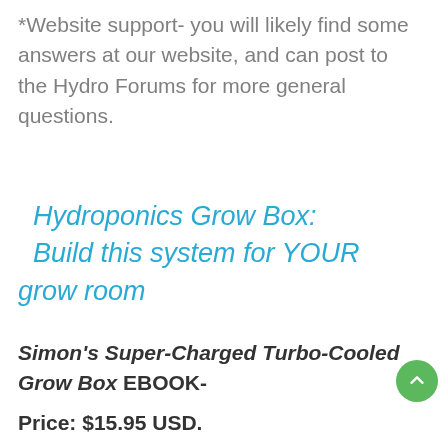*Website support- you will likely find some answers at our website, and can post to the Hydro Forums for more general questions.
Hydroponics Grow Box: Build this system for YOUR grow room
Simon's Super-Charged Turbo-Cooled Grow Box EBOOK-
Price: $15.95 USD.